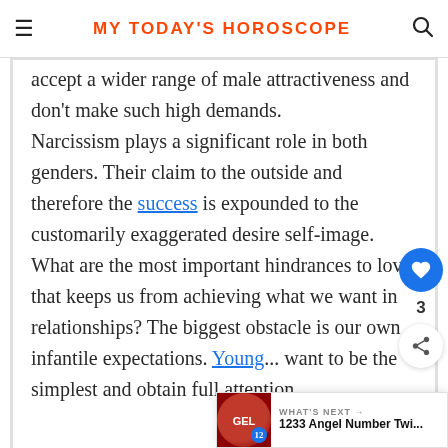MY TODAY'S HOROSCOPE
accept a wider range of male attractiveness and don't make such high demands.

Narcissism plays a significant role in both genders. Their claim to the outside and therefore the success is expounded to the customarily exaggerated desire self-image. What are the most important hindrances to love that keeps us from achieving what we want in relationships? The biggest obstacle is our own infantile expectations. Young... want to be the simplest and obtain full attention